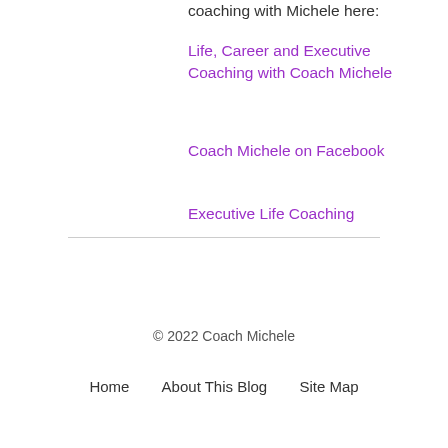coaching with Michele here:
Life, Career and Executive Coaching with Coach Michele
Coach Michele on Facebook
Executive Life Coaching
© 2022 Coach Michele
Home   About This Blog   Site Map